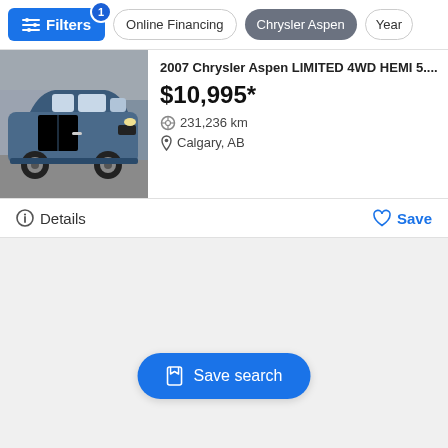Filters | Online Financing | Chrysler Aspen | Year
[Figure (screenshot): Blue Chrysler Aspen SUV parked in a lot]
2007 Chrysler Aspen LIMITED 4WD HEMI 5....
$10,995*
231,236 km
Calgary, AB
Details
Save
Save search